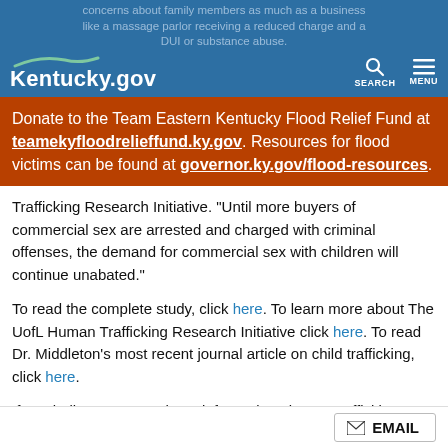Kentucky.gov
concerns about family members as much as a business like a massage parlor receiving a reduced charge and a DUI or substance abuse.
Donate to the Team Eastern Kentucky Flood Relief Fund at teamekyfloodrelieffund.ky.gov. Resources for flood victims can be found at governor.ky.gov/flood-resources.
Trafficking Research Initiative. "Until more buyers of commercial sex are arrested and charged with criminal offenses, the demand for commercial sex with children will continue unabated."
To read the complete study, click here. To learn more about The UofL Human Trafficking Research Initiative click here. To read Dr. Middleton's most recent journal article on child trafficking, click here.
If you believe you may have information about a trafficking situation, call the National Human Trafficking Hotline toll-free at 1-888-373-7888. Anti-trafficking hotline advocates are available 24/7 to take reports of potential human trafficking. For more information visit, humantraffickinghotline.org/report-trafficking.
###
EMAIL